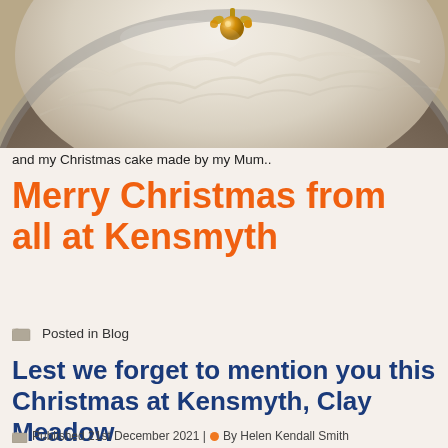[Figure (photo): Top portion of a white-frosted Christmas cake with a gold ornament decoration on top, viewed from above at an angle. The cake has textured white frosting with grey/silver sides.]
and my Christmas cake made by my Mum..
Merry Christmas from all at Kensmyth
Posted in Blog
Lest we forget to mention you this Christmas at Kensmyth, Clay Meadow
Published 21st December 2021 | By Helen Kendall Smith